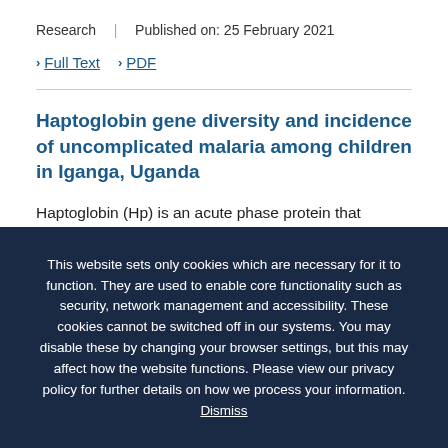Research | Published on: 25 February 2021
> Full Text  > PDF
Haptoglobin gene diversity and incidence of uncomplicated malaria among children in Iganga, Uganda
Haptoglobin (Hp) is an acute phase protein that
This website sets only cookies which are necessary for it to function. They are used to enable core functionality such as security, network management and accessibility. These cookies cannot be switched off in our systems. You may disable these by changing your browser settings, but this may affect how the website functions. Please view our privacy policy for further details on how we process your information. Dismiss